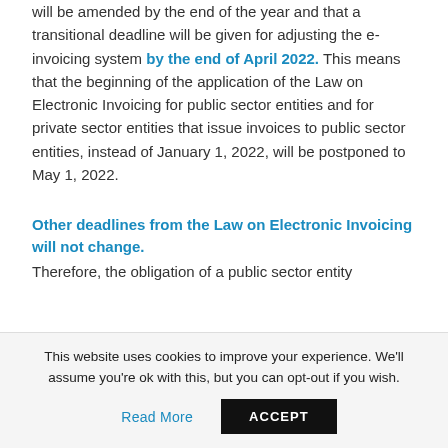will be amended by the end of the year and that a transitional deadline will be given for adjusting the e-invoicing system by the end of April 2022. This means that the beginning of the application of the Law on Electronic Invoicing for public sector entities and for private sector entities that issue invoices to public sector entities, instead of January 1, 2022, will be postponed to May 1, 2022.
Other deadlines from the Law on Electronic Invoicing will not change.
Therefore, the obligation of a public sector entity
This website uses cookies to improve your experience. We'll assume you're ok with this, but you can opt-out if you wish.